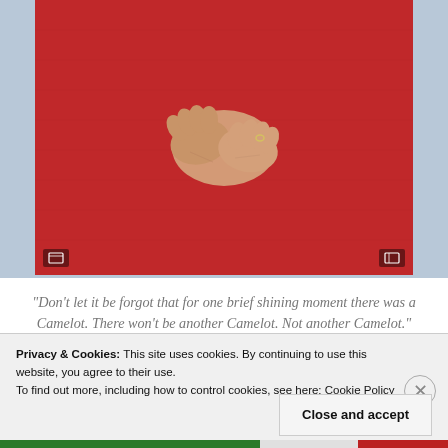[Figure (photo): Close-up photo of a person in a red textured garment with hands clasped in front, ring visible on finger. Photo is cropped to show torso and hands only against a light blue-gray background border.]
“Don’t let it be forgot that for one brief shining moment there was a Camelot. There won’t be another Camelot. Not another Camelot.”
Natalie Portman was at her finest in her portrayal of Mrs. Kennedy, making director Pablo Larrain’s Jackie a superior film that deserves all the
Privacy & Cookies: This site uses cookies. By continuing to use this website, you agree to their use.
To find out more, including how to control cookies, see here: Cookie Policy
Close and accept